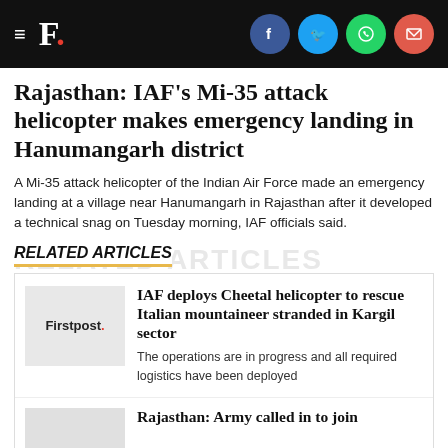F. [Firstpost logo with social icons: Facebook, Twitter, WhatsApp, Email]
Rajasthan: IAF's Mi-35 attack helicopter makes emergency landing in Hanumangarh district
A Mi-35 attack helicopter of the Indian Air Force made an emergency landing at a village near Hanumangarh in Rajasthan after it developed a technical snag on Tuesday morning, IAF officials said.
RELATED ARTICLES
[Figure (logo): Firstpost logo — grey box with 'Firstpost.' text in bold, red period]
IAF deploys Cheetal helicopter to rescue Italian mountaineer stranded in Kargil sector
The operations are in progress and all required logistics have been deployed
[Figure (photo): Grey thumbnail placeholder for second related article]
Rajasthan: Army called in to join